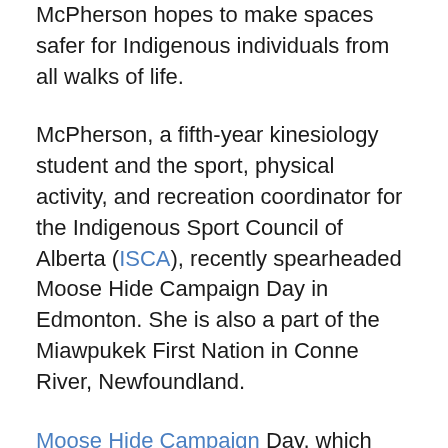McPherson hopes to make spaces safer for Indigenous individuals from all walks of life.
McPherson, a fifth-year kinesiology student and the sport, physical activity, and recreation coordinator for the Indigenous Sport Council of Alberta (ISCA), recently spearheaded Moose Hide Campaign Day in Edmonton. She is also a part of the Miawpukek First Nation in Conne River, Newfoundland.
Moose Hide Campaign Day, which was on May 12, is an Indigenous-led grassroots movement that aims to protect women and children. The event that day asked men and boys to take a pledge to stand against violence.
McPherson mentioned that she first heard about the campaign and wanted to bring it to Edmonton so…